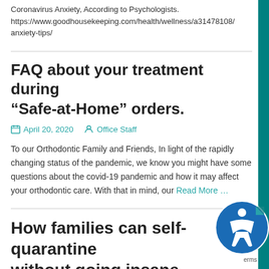Coronavirus Anxiety, According to Psychologists. https://www.goodhousekeeping.com/health/wellness/a31478108/anxiety-tips/
FAQ about your treatment during “Safe-at-Home” orders.
April 20, 2020   Office Staff
To our Orthodontic Family and Friends, In light of the rapidly changing status of the pandemic, we know you might have some questions about the covid-19 pandemic and how it may affect your orthodontic care. With that in mind, our Read More …
How families can self-quarantine without going insane
April 13, 2020   drKbraces
Being at home with our families for two weeks sounds like hell. Of course, I’m panicking about coronavirus, ...